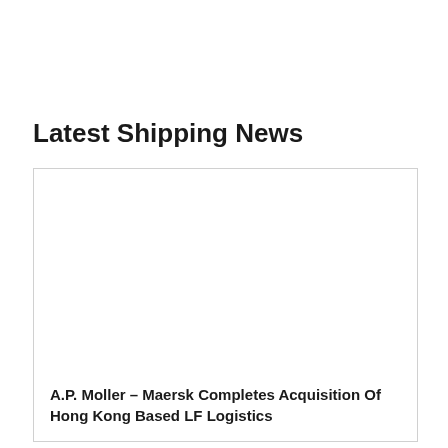Latest Shipping News
[Figure (photo): Image placeholder inside a card for shipping news article]
A.P. Moller – Maersk Completes Acquisition Of Hong Kong Based LF Logistics